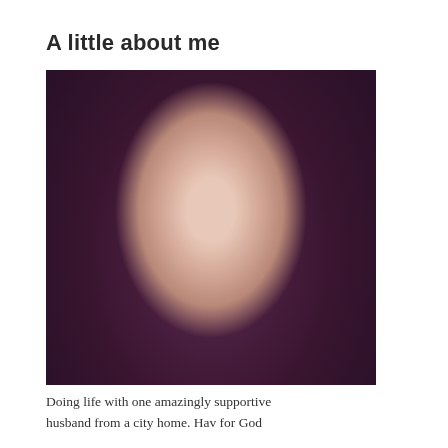A little about me
[Figure (photo): Portrait photo of a woman with long dark brown/auburn wavy hair and blue eyes, smiling slightly, against a soft blurred outdoor background.]
Doing life with one amazingly supportive husband from a city home. Hav for God...